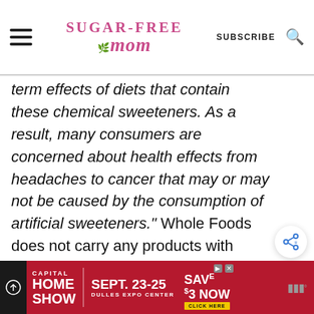Sugar-Free Mom | SUBSCRIBE
term effects of diets that contain these chemical sweeteners. As a result, many consumers are concerned about health effects from headaches to cancer that may or may not be caused by the consumption of artificial sweeteners." Whole Foods does not carry any products with Splenda or other artificial sweeteners.
[Figure (other): Share button icon (circular button with share symbol)]
[Figure (other): Advertisement banner: Capital Home Show, Sept. 23-25, Dulles Expo Center, Save $3 Now, Click Here]